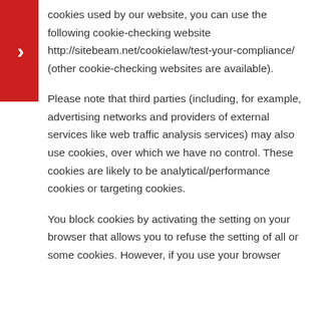cookies used by our website, you can use the following cookie-checking website http://sitebeam.net/cookielaw/test-your-compliance/ (other cookie-checking websites are available).
Please note that third parties (including, for example, advertising networks and providers of external services like web traffic analysis services) may also use cookies, over which we have no control. These cookies are likely to be analytical/performance cookies or targeting cookies.
You block cookies by activating the setting on your browser that allows you to refuse the setting of all or some cookies. However, if you use your browser settings to block all cookies (including essential cookies) you may not be able to access all or parts of our site.